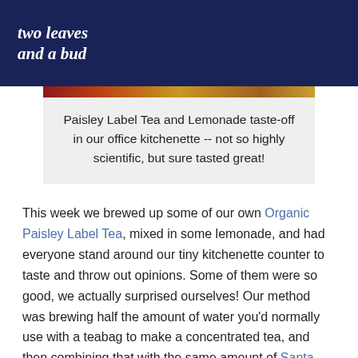two leaves and a bud
[Figure (photo): Partial image strip showing a tea and lemonade product, cropped at top]
Paisley Label Tea and Lemonade taste-off in our office kitchenette -- not so highly scientific, but sure tasted great!
This week we brewed up some of our own Organic Paisley Label Tea, mixed in some lemonade, and had everyone stand around our tiny kitchenette counter to taste and throw out opinions. Some of them were so good, we actually surprised ourselves! Our method was brewing half the amount of water you'd normally use with a teabag to make a concentrated tea, and then combining that with the same amount of Santa Cruz Organic Lemonade, because we love that stuff. Using this recipe, the tea spoke up for itself, and the lemonade added just the right amount of sweetness and tart flavor...